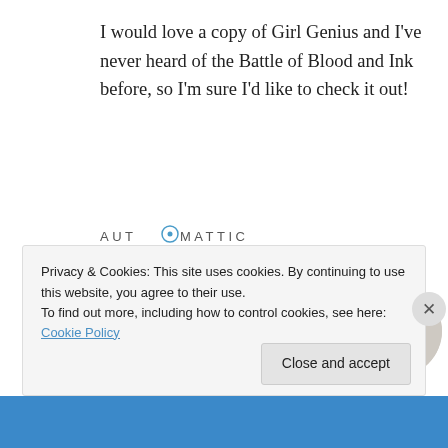I would love a copy of Girl Genius and I've never heard of the Battle of Blood and Ink before, so I'm sure I'd like to check it out!
[Figure (logo): Automattic logo with stylized O containing a dot]
[Figure (infographic): Automattic advertisement: Build a better web and a better world. Apply button and photo of a man thinking.]
Privacy & Cookies: This site uses cookies. By continuing to use this website, you agree to their use.
To find out more, including how to control cookies, see here: Cookie Policy
Close and accept